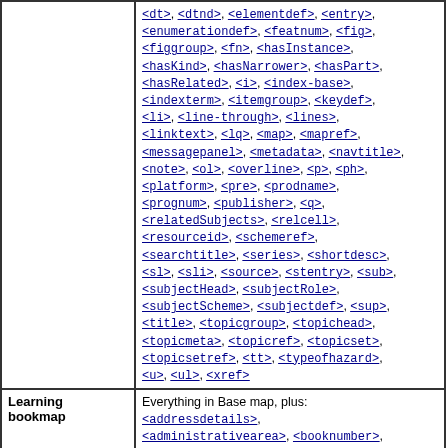| (continuation) | <dt>, <dtnd>, <elementdef>, <entry>, <enumerationdef>, <featnum>, <fig>, <figgroup>, <fn>, <hasInstance>, <hasKind>, <hasNarrower>, <hasPart>, <hasRelated>, <i>, <index-base>, <indexterm>, <itemgroup>, <keydef>, <li>, <line-through>, <lines>, <linktext>, <lq>, <map>, <mapref>, <messagepanel>, <metadata>, <navtitle>, <note>, <ol>, <overline>, <p>, <ph>, <platform>, <pre>, <prodname>, <prognum>, <publisher>, <q>, <relatedSubjects>, <relcell>, <resourceid>, <schemeref>, <searchtitle>, <series>, <shortdesc>, <sl>, <sli>, <source>, <stentry>, <sub>, <subjectHead>, <subjectRole>, <subjectScheme>, <subjectdef>, <sup>, <title>, <topicgroup>, <topichead>, <topicmeta>, <topicref>, <topicset>, <topicsetref>, <tt>, <typeofhazard>, <u>, <ul>, <xref> |
| Learning bookmap | Everything in Base map, plus: <addressdetails>, <administrativearea>, <booknumber>, <bookpartno>, <change-request-id>, <change-request-system>, <change-revisionid>, <change-summary>, |